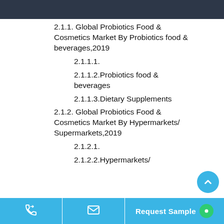2.1.1. Global Probiotics Food & Cosmetics Market By Probiotics food & beverages,2019
2.1.1.1.
2.1.1.2.Probiotics food & beverages
2.1.1.3.Dietary Supplements
2.1.2. Global Probiotics Food & Cosmetics Market By Hypermarkets/Supermarkets,2019
2.1.2.1.
2.1.2.2.Hypermarkets/
Request Sample